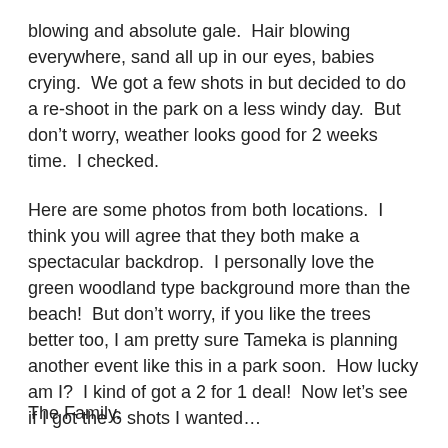blowing and absolute gale.  Hair blowing everywhere, sand all up in our eyes, babies crying.  We got a few shots in but decided to do a re-shoot in the park on a less windy day.  But don't worry, weather looks good for 2 weeks time.  I checked.
Here are some photos from both locations.  I think you will agree that they both make a spectacular backdrop.  I personally love the green woodland type background more than the beach!  But don't worry, if you like the trees better too, I am pretty sure Tameka is planning another event like this in a park soon.  How lucky am I?  I kind of got a 2 for 1 deal!  Now let's see if I got the 6 shots I wanted…
The Family.